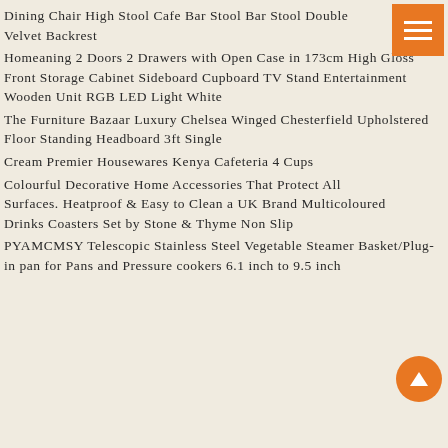Dining Chair High Stool Cafe Bar Stool Bar Stool Double Velvet Backrest
Homeaning 2 Doors 2 Drawers with Open Case in 173cm High Gloss Front Storage Cabinet Sideboard Cupboard TV Stand Entertainment Wooden Unit RGB LED Light White
The Furniture Bazaar Luxury Chelsea Winged Chesterfield Upholstered Floor Standing Headboard 3ft Single
Cream Premier Housewares Kenya Cafeteria 4 Cups
Colourful Decorative Home Accessories That Protect All Surfaces. Heatproof & Easy to Clean a UK Brand Multicoloured Drinks Coasters Set by Stone & Thyme Non Slip
PYAMCMSY Telescopic Stainless Steel Vegetable Steamer Basket/Plug-in pan for Pans and Pressure cookers 6.1 inch to 9.5 inch